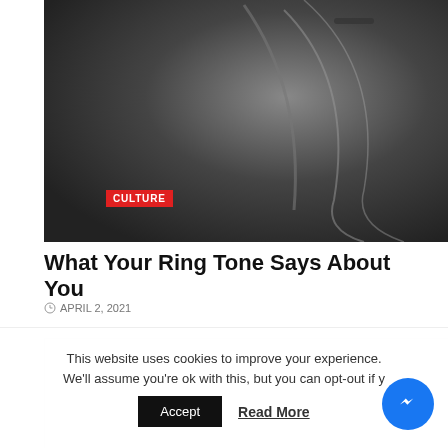[Figure (photo): Close-up grayscale photo of a smartphone surface showing curved edges and screen, with a red CULTURE badge overlaid at bottom-left]
What Your Ring Tone Says About You
APRIL 2, 2021
[Figure (other): Gray advertisement placeholder block]
This website uses cookies to improve your experience. We'll assume you're ok with this, but you can opt-out if y
Accept
Read More